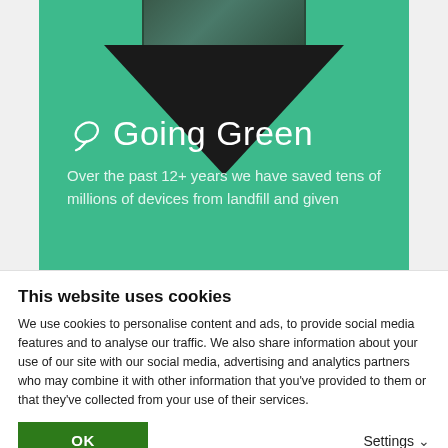[Figure (screenshot): Green branded banner showing a dark phone device at the top, a dark triangle/mountain shape in the middle on a teal/green background, with a leaf icon and 'Going Green' heading, and partial text 'Over the past 12+ years we have saved tens of millions of devices from landfill and given']
This website uses cookies
We use cookies to personalise content and ads, to provide social media features and to analyse our traffic. We also share information about your use of our site with our social media, advertising and analytics partners who may combine it with other information that you've provided to them or that they've collected from your use of their services.
OK
Settings